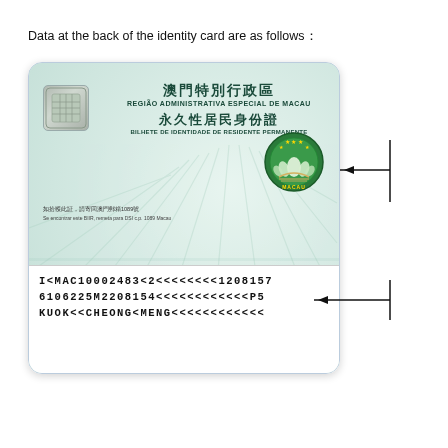Data at the back of the identity card are as follows：
[Figure (photo): Back of Macau Permanent Resident Identity Card showing Chinese and Portuguese text header '澳門特別行政區 REGIÃO ADMINISTRATIVA ESPECIAL DE MACAU 永久性居民身份證 BILHETE DE IDENTIDADE DE RESIDENTE PERMANENTE', a chip, Macau emblem, small text about lost card, and MRZ zone with three lines: 'I<MAC10002483<2<<<<<<<<1208157', '6106225M2208154<<<<<<<<<<<P5', 'KUOK<<CHEONG<MENG<<<<<<<<<<<<'. Two annotation arrows point to the card header and MRZ zone.]